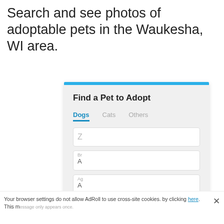Search and see photos of adoptable pets in the Waukesha, WI area.
[Figure (screenshot): Widget showing 'Find a Pet to Adopt' with tabs for Dogs, Cats, Others and input fields, overlaid by a cookie consent popup saying 'This website stores data such as cookies to enable necessary site functions, including analytics, targeting and personalization. By remaining on this website you indicate your consent.' with a Cookie Policy link and close button]
This website stores data such as cookies to enable necessary site functions, including analytics, targeting and personalization. By remaining on this website you indicate your consent.
Cookie Policy
Your browser settings do not allow AdRoll to use cross-site cookies. by clicking here. This message only appears once.